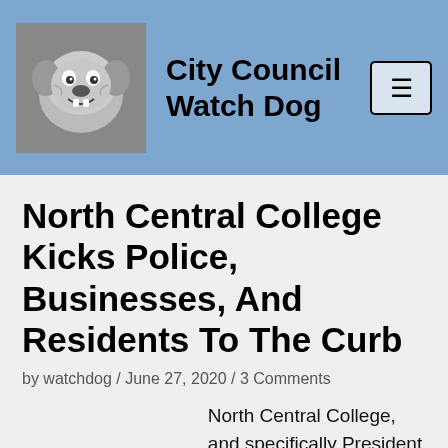City Council Watch Dog
North Central College Kicks Police, Businesses, And Residents To The Curb
by watchdog / June 27, 2020 / 3 Comments
North Central College, and specifically President Troy Hammond is no friend to Naperville residents, businesses, and precisely Naperville's Police...